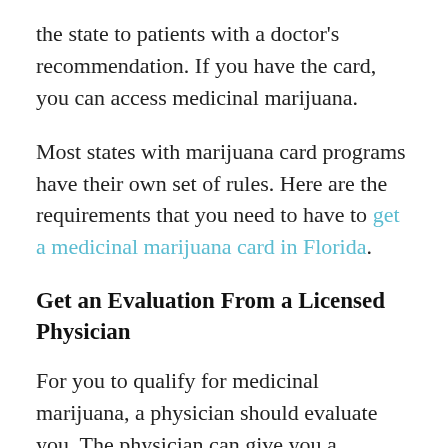the state to patients with a doctor's recommendation. If you have the card, you can access medicinal marijuana.
Most states with marijuana card programs have their own set of rules. Here are the requirements that you need to have to get a medicinal marijuana card in Florida.
Get an Evaluation From a Licensed Physician
For you to qualify for medicinal marijuana, a physician should evaluate you. The physician can give you a recommendation on the dose